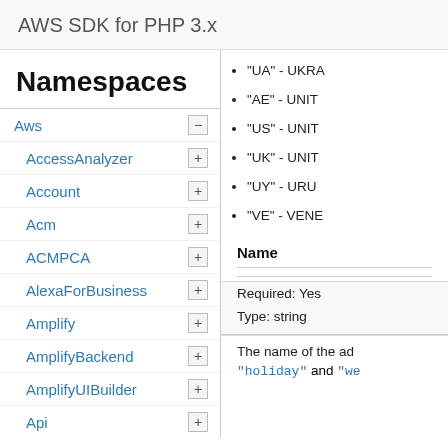AWS SDK for PHP 3.x
Namespaces
Aws
AccessAnalyzer
Account
Acm
ACMPCA
AlexaForBusiness
Amplify
AmplifyBackend
AmplifyUIBuilder
Api
ApiGateway
ApiGatewayManagementApi
"UA" - UKRA
"AE" - UNIT
"US" - UNIT
"UK" - UNIT
"UY" - URU
"VE" - VENE
Name
Required: Yes
Type: string
The name of the ad
"holiday" and "we